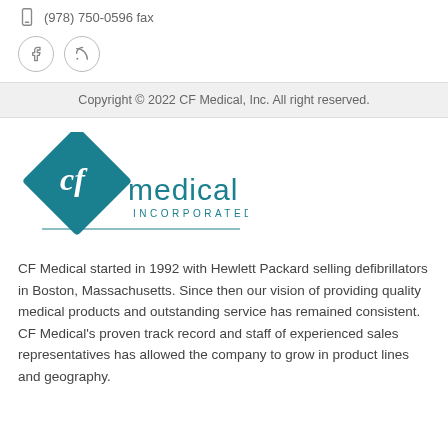(978) 750-0596 fax
[Figure (logo): CF Medical Incorporated logo — teal diamond shape with 'cf' in white, and 'medical INCORPORATED' in teal text to the right]
Copyright © 2022 CF Medical, Inc. All right reserved.
CF Medical started in 1992 with Hewlett Packard selling defibrillators in Boston, Massachusetts. Since then our vision of providing quality medical products and outstanding service has remained consistent. CF Medical's proven track record and staff of experienced sales representatives has allowed the company to grow in product lines and geography.